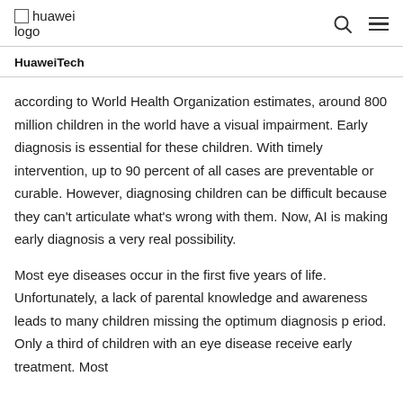huawei logo
HuaweiTech
according to World Health Organization estimates, around 800 million children in the world have a visual impairment. Early diagnosis is essential for these children. With timely intervention, up to 90 percent of all cases are preventable or curable. However, diagnosing children can be difficult because they can't articulate what's wrong with them. Now, AI is making early diagnosis a very real possibility.
Most eye diseases occur in the first five years of life. Unfortunately, a lack of parental knowledge and awareness leads to many children missing the optimum diagnosis p eriod. Only a third of children with an eye disease receive early treatment. Most children are not diagnosed for years, causing lasting effects.